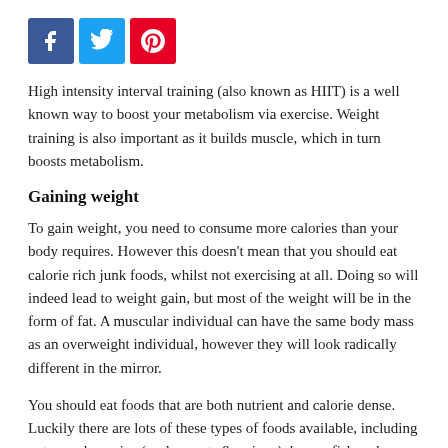[Figure (infographic): Three social media sharing buttons: Facebook (blue), Twitter (light blue), Pinterest (red)]
High intensity interval training (also known as HIIT) is a well known way to boost your metabolism via exercise. Weight training is also important as it builds muscle, which in turn boosts metabolism.
Gaining weight
To gain weight, you need to consume more calories than your body requires. However this doesn't mean that you should eat calorie rich junk foods, whilst not exercising at all. Doing so will indeed lead to weight gain, but most of the weight will be in the form of fat. A muscular individual can have the same body mass as an overweight individual, however they will look radically different in the mirror.
You should eat foods that are both nutrient and calorie dense. Luckily there are lots of these types of foods available, including nuts, seeds, grains (such as oats & quinoa), beans, fish and